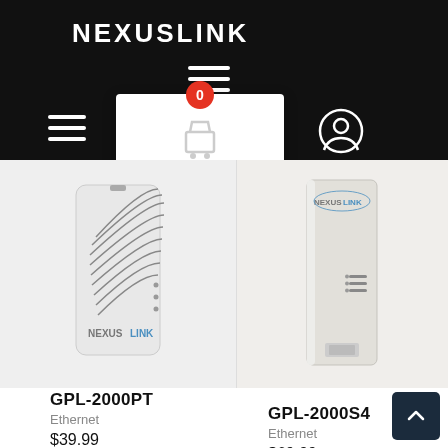NEXUSLINK
[Figure (screenshot): NexusLink website screenshot showing navigation header with hamburger menus, cart popup with badge showing 0, and user icon]
[Figure (photo): NexusLink GPL-2000PT powerline adapter device photo - white rectangular device with ventilation grilles and NexusLink branding]
[Figure (photo): NexusLink GPL-2000S4 powerline adapter device photo - white/beige tall narrow device with NexusLink branding and LED indicators]
GPL-2000PT
Ethernet
$39.99
GPL-2000S4
Ethernet
$69.99